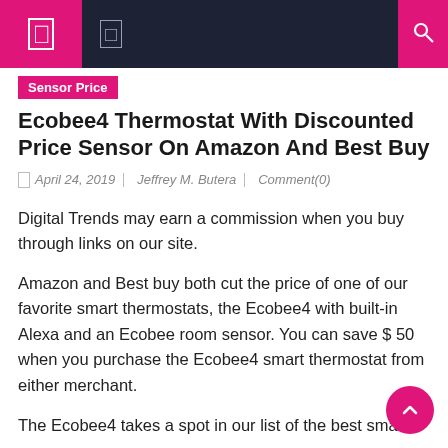Navigation bar with menu and search icons
Sensor Price
Ecobee4 Thermostat With Discounted Price Sensor On Amazon And Best Buy
April 24, 2019 | Jeffrey M. Butera | Comment(0)
Digital Trends may earn a commission when you buy through links on our site.
Amazon and Best buy both cut the price of one of our favorite smart thermostats, the Ecobee4 with built-in Alexa and an Ecobee room sensor. You can save $ 50 when you purchase the Ecobee4 smart thermostat from either merchant.
The Ecobee4 takes a spot in our list of the best smart